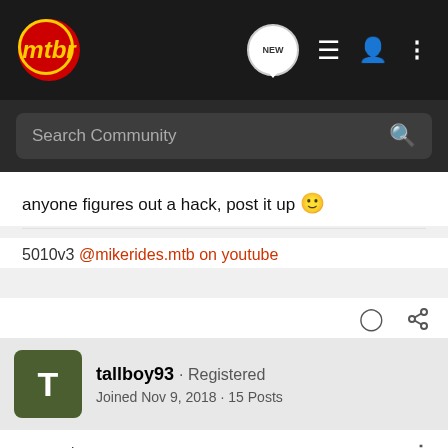mtbr - navigation bar with Search Community
anyone figures out a hack, post it up 🙂
5010v3 @mikerides.mtb on youtube
tallboy93 · Registered
Joined Nov 9, 2018 · 15 Posts
#12 · Feb 3, 2020
I manag... hich would m... maller
[Figure (screenshot): Advertisement: THE NEW 2022 SILVERADO. Explore button, Chevrolet logo, truck on green background]